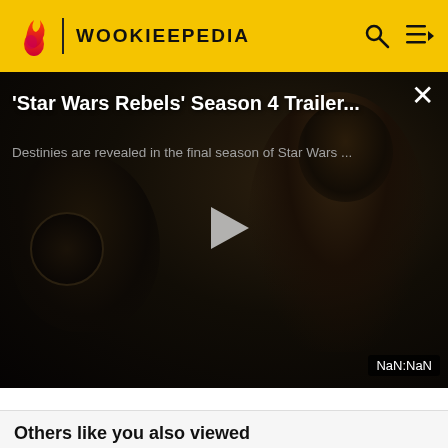WOOKIEEPEDIA
[Figure (screenshot): Video player showing 'Star Wars Rebels' Season 4 Trailer with dark scene of characters, play button overlay, and NaN:NaN duration badge]
'Star Wars Rebels' Season 4 Trailer...
Destinies are revealed in the final season of Star Wars ...
Others like you also viewed
[Figure (photo): Four thumbnail images of Star Wars Rebels characters: hooded figure, Ezra Bridger, a boy with blue eyes, and Ahsoka Tano with navigation arrows]
NaN:NaN